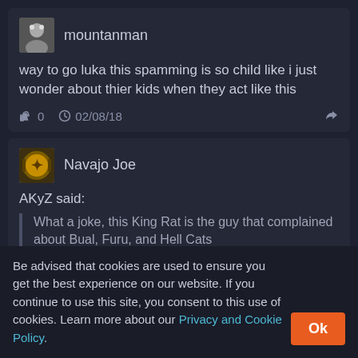mountanman
way to go luka this spamming is so child like i just wonder about thier kids when they act like this
0   02/08/18
Navajo Joe
AKyZ said:
What a joke, this King Rat is the guy that complained about Bual, Furu, and Hell Cats
Be advised that cookies are used to ensure you get the best experience on our website. If you continue to use this site, you consent to this use of cookies. Learn more about our Privacy and Cookie Policy.
wonders.